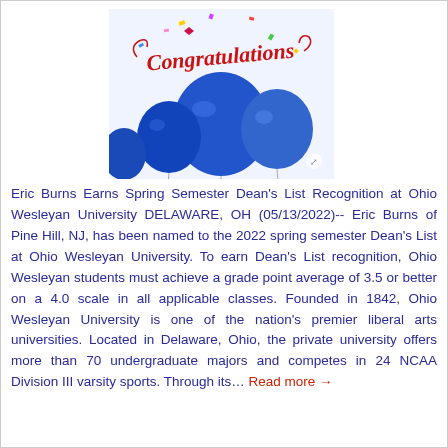[Figure (illustration): Congratulations graphic with blue balloons and red cursive 'Congratulations' text with confetti]
Eric Burns Earns Spring Semester Dean's List Recognition at Ohio Wesleyan University DELAWARE, OH (05/13/2022)-- Eric Burns of Pine Hill, NJ, has been named to the 2022 spring semester Dean's List at Ohio Wesleyan University. To earn Dean's List recognition, Ohio Wesleyan students must achieve a grade point average of 3.5 or better on a 4.0 scale in all applicable classes. Founded in 1842, Ohio Wesleyan University is one of the nation's premier liberal arts universities. Located in Delaware, Ohio, the private university offers more than 70 undergraduate majors and competes in 24 NCAA Division III varsity sports. Through its... Read more →